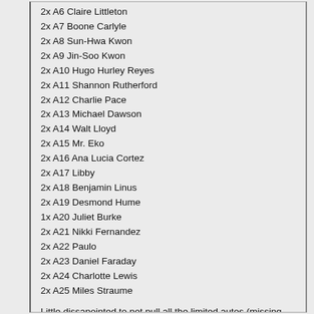2x A6 Claire Littleton
2x A7 Boone Carlyle
2x A8 Sun-Hwa Kwon
2x A9 Jin-Soo Kwon
2x A10 Hugo Hurley Reyes
2x A11 Shannon Rutherford
2x A12 Charlie Pace
2x A13 Michael Dawson
2x A14 Walt Lloyd
2x A15 Mr. Eko
2x A16 Ana Lucia Cortez
2x A17 Libby
2x A18 Benjamin Linus
2x A19 Desmond Hume
1x A20 Juliet Burke
2x A21 Nikki Fernandez
2x A22 Paulo
2x A23 Daniel Faraday
2x A24 Charlotte Lewis
2x A25 Miles Straume
Little dissapointed to not pull all the limited autos (missing Malcolm David Kelly and Mira Furlan), and only the one very limited - Micheal Emerson who signed for two Inkworks sets which I have have both. Was really hoping for one of the other very limited.
Collation of the non auto chase was not bad,but now have a few duplicate autos if anyone wants to trade. Email is on profile page.